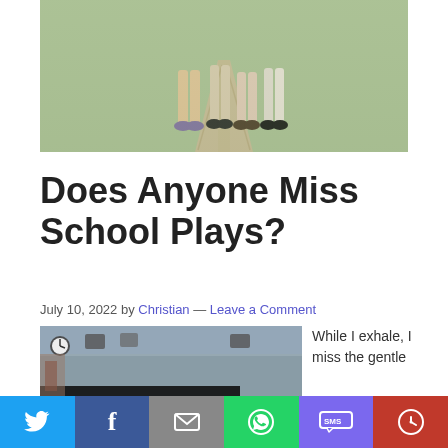[Figure (photo): Top of page photo showing legs/feet of girls standing on a pathway surrounded by green grass, cropped at the top]
Does Anyone Miss School Plays?
July 10, 2022 by Christian — Leave a Comment
[Figure (photo): Photo of a school stage/hall with text overlay reading 'Does anyone miss school plays?' in bold purple italic font on dark background]
While I exhale, I miss the gentle
[Figure (infographic): Social share bar at the bottom with Twitter (blue), Facebook (dark blue), Email (gray), WhatsApp (green), SMS (purple), and More (red) buttons]